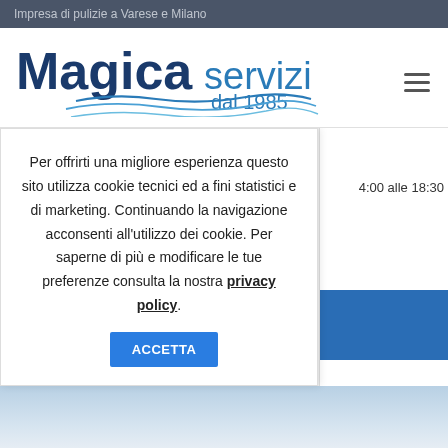Impresa di pulizie a Varese e Milano
[Figure (logo): Magica servizi dal 1985 logo — blue text with wave decoration]
Per offrirti una migliore esperienza questo sito utilizza cookie tecnici ed a fini statistici e di marketing. Continuando la navigazione acconsenti all'utilizzo dei cookie. Per saperne di più e modificare le tue preferenze consulta la nostra privacy policy.
4:00 alle 18:30